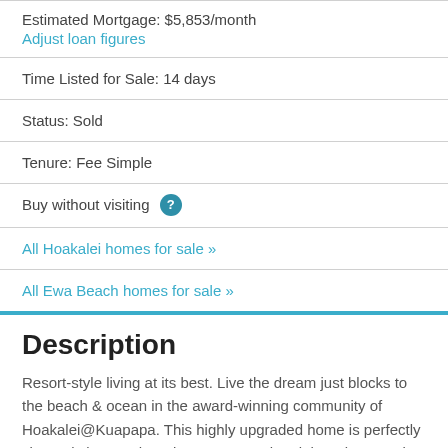Estimated Mortgage: $5,853/month
Adjust loan figures
Time Listed for Sale: 14 days
Status: Sold
Tenure: Fee Simple
Buy without visiting ?
All Hoakalei homes for sale »
All Ewa Beach homes for sale »
Description
Resort-style living at its best. Live the dream just blocks to the beach & ocean in the award-winning community of Hoakalei@Kuapapa. This highly upgraded home is perfectly situated close to the private HOA pool and the private Wai Kai Hale club. The property is highly upgraded